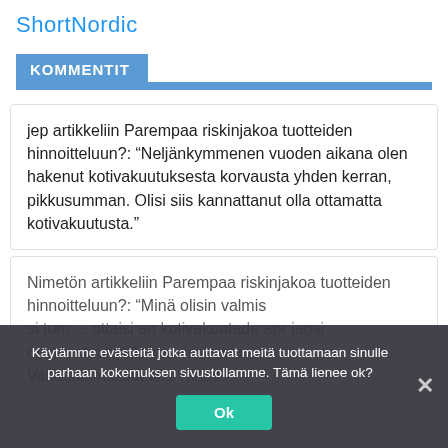ShortNordic
KOMMENTIT
jep artikkeliin Parempaa riskinjakoa tuotteiden hinnoitteluun?: “Neljänkymmenen vuoden aikana olen hakenut kotivakuutuksesta korvausta yhden kerran, pikkusumman. Olisi siis kannattanut olla ottamatta kotivakuutusta.”
Nimetön artikkeliin Parempaa riskinjakoa tuotteiden hinnoitteluun?: ”Minä olisin valmis ...ottamatta kotivakuutusta, sen omavastuun ylittämää hinnosta. Vakuutusmaksut olisi...masti.”
Käytämme evästeitä jotka auttavat meitä tuottamaan sinulle parhaan kokemuksen sivustollamme. Tämä lienee ok?